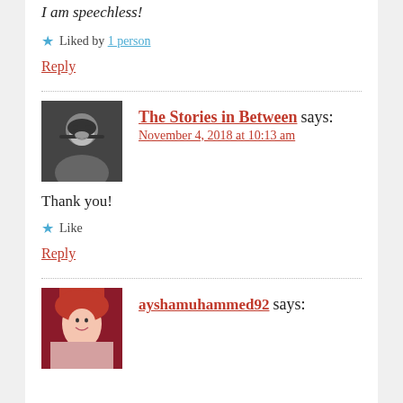I am speechless!
★ Liked by 1 person
Reply
The Stories in Between says:
November 4, 2018 at 10:13 am
Thank you!
★ Like
Reply
ayshamuhammed92 says: